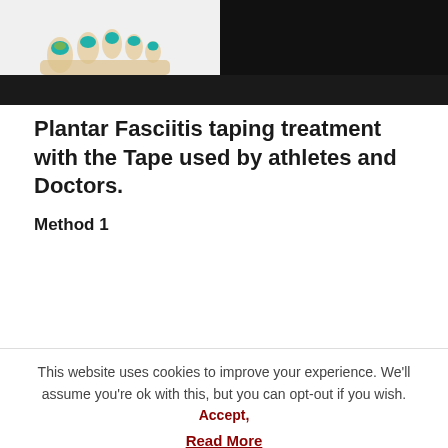[Figure (photo): Partial view of feet with teal/turquoise painted toenails on white background, with dark/black background to the right and bottom.]
Plantar Fasciitis taping treatment with the Tape used by athletes and Doctors.
Method 1
This website uses cookies to improve your experience. We'll assume you're ok with this, but you can opt-out if you wish. Accept, Read More